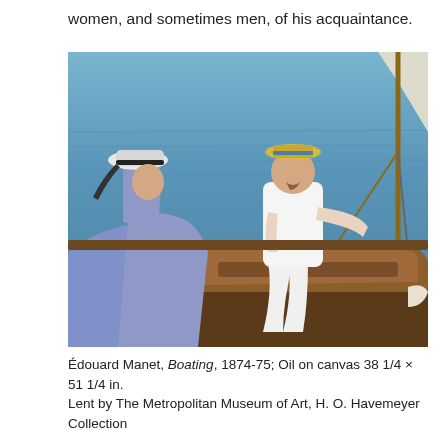women, and sometimes men, of his acquaintance.
[Figure (photo): Édouard Manet painting 'Boating' (1874-75) showing a man in white clothes and a straw hat sitting in a boat holding ropes, with a woman in a blue dress and white hat seated in the foreground left. Blue water and a sail are visible in the background.]
Édouard Manet, Boating, 1874-75; Oil on canvas 38 1/4 × 51 1/4 in.
Lent by The Metropolitan Museum of Art, H. O. Havemeyer Collection